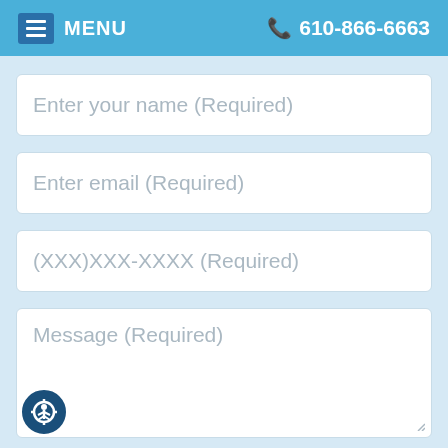MENU  610-866-6663
Enter your name (Required)
Enter email (Required)
(XXX)XXX-XXXX (Required)
Message (Required)